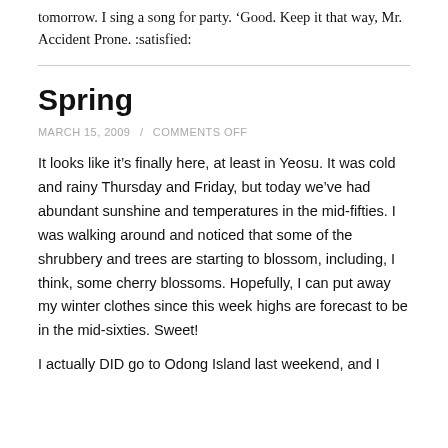tomorrow. I sing a song for party. 'Good. Keep it that way, Mr. Accident Prone. :satisfied:'
Spring
MARCH 15, 2009 / COMMENTS OFF
It looks like it's finally here, at least in Yeosu. It was cold and rainy Thursday and Friday, but today we've had abundant sunshine and temperatures in the mid-fifties. I was walking around and noticed that some of the shrubbery and trees are starting to blossom, including, I think, some cherry blossoms. Hopefully, I can put away my winter clothes since this week highs are forecast to be in the mid-sixties. Sweet!
I actually DID go to Odong Island last weekend, and I